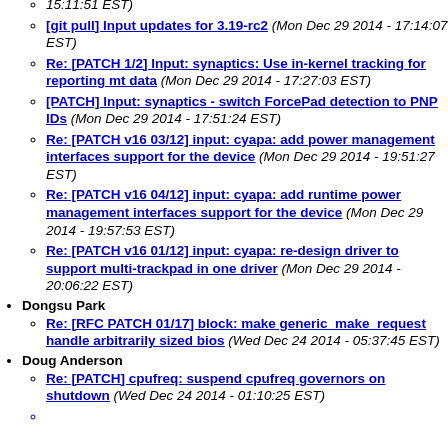[git pull] Input updates for 3.19-rc2 (Mon Dec 29 2014 - 17:14:07 EST)
Re: [PATCH 1/2] Input: synaptics: Use in-kernel tracking for reporting mt data (Mon Dec 29 2014 - 17:27:03 EST)
[PATCH] Input: synaptics - switch ForcePad detection to PNP IDs (Mon Dec 29 2014 - 17:51:24 EST)
Re: [PATCH v16 03/12] input: cyapa: add power management interfaces support for the device (Mon Dec 29 2014 - 19:51:27 EST)
Re: [PATCH v16 04/12] input: cyapa: add runtime power management interfaces support for the device (Mon Dec 29 2014 - 19:57:53 EST)
Re: [PATCH v16 01/12] input: cyapa: re-design driver to support multi-trackpad in one driver (Mon Dec 29 2014 - 20:06:22 EST)
Dongsu Park
Re: [RFC PATCH 01/17] block: make generic make request handle arbitrarily sized bios (Wed Dec 24 2014 - 05:37:45 EST)
Doug Anderson
Re: [PATCH] cpufreq: suspend cpufreq governors on shutdown (Wed Dec 24 2014 - 01:10:25 EST)